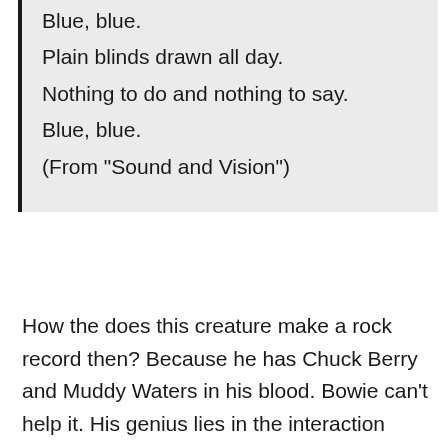Blue, blue.
Plain blinds drawn all day.
Nothing to do and nothing to say.
Blue, blue.
(From "Sound and Vision")
How the does this creature make a rock record then? Because he has Chuck Berry and Muddy Waters in his blood. Bowie can't help it. His genius lies in the interaction between his gut (primal) and his brain (esoteric). Neither one ever completely dominates, and his rock n' roll instinct is always present, at least when there is a drummer in the room. On this record Bowie gets very close to some kind of Krautrock, but he can't quite get there. If he is aiming at minimalism, he fails...